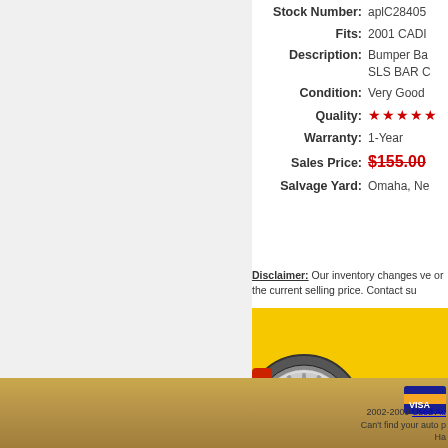Stock Number: aplC28405
Fits: 2001 CADI
Description: Bumper Ba SLS BAR C
Condition: Very Good
Quality: ★★★★★
Warranty: 1-Year
Sales Price: $155.00
Salvage Yard: Omaha, Ne
Disclaimer: Our inventory changes ve or the current selling price. Contact su
[Figure (photo): Auto parts image on yellow background showing wheel, engine, and body panel]
2002-2009 Used Au Can't find your auto p Ha